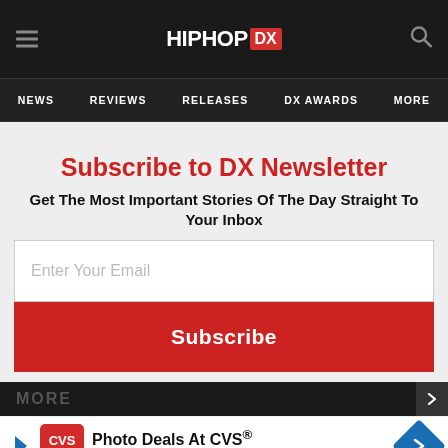HipHopDX — NEWS | REVIEWS | RELEASES | DX AWARDS | MORE
Subscribe to DX Newsletter
Get The Most Important Stories Of The Day Straight To Your Inbox
[Figure (screenshot): Email subscription form with text input field labeled 'Enter Your Email' and a red Subscribe button]
[Figure (screenshot): Advertisement banner: Photo Deals At CVS® — CVS Photo, with CVS pharmacy logo and blue navigation arrow icon]